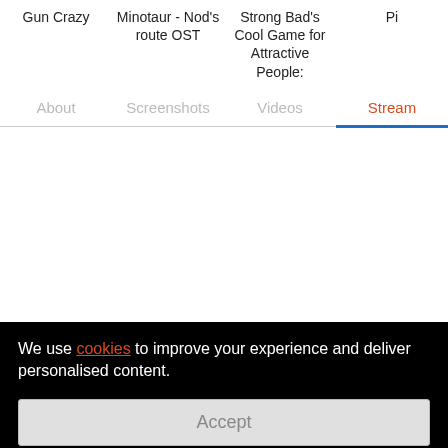Gun Crazy | Minotaur - Nod's route OST | Strong Bad's Cool Game for Attractive People: | Pi
About | Screenshots | Videos | Stream
© 2022 ALLGAMEMARKET
We use cookies to improve your experience and deliver personalised content.
Accept